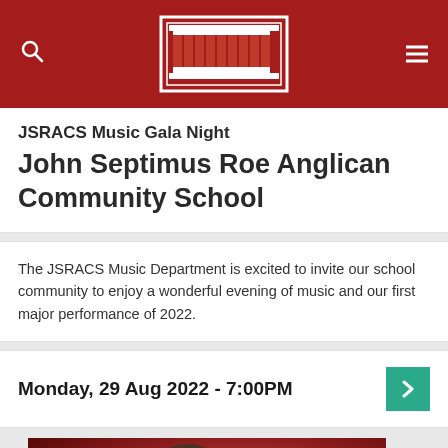JSRACS website header with logo, search and menu
JSRACS Music Gala Night
John Septimus Roe Anglican Community School
The JSRACS Music Department is excited to invite our school community to enjoy a wonderful evening of music and our first major performance of 2022.
Monday, 29 Aug 2022 - 7:00PM
[Figure (photo): Portrait photo of a man with dark hair in a dark jacket, against a red/pink background with a glowing arc of light]